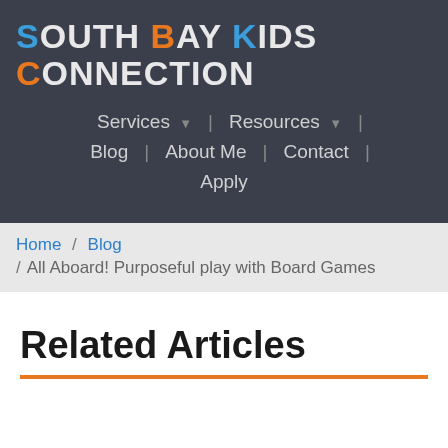[Figure (logo): South Bay Kids Connection logo with colored letters: S in blue, B and C in orange, K in blue, rest in white, on dark background]
Services | Resources | Blog | About Me | Contact | Apply
Home / Blog / All Aboard! Purposeful play with Board Games
Related Articles